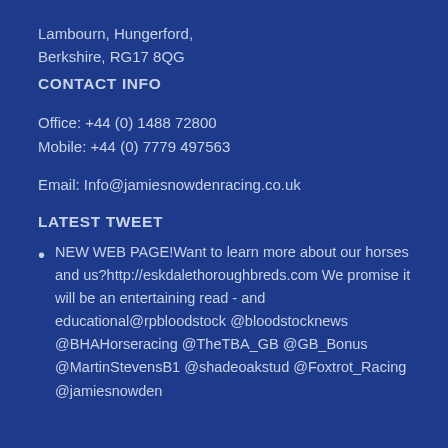Lambourn, Hungerford,
Berkshire, RG17 8QG
CONTACT INFO
Office: +44 (0) 1488 72800
Mobile: +44 (0) 7779 497563
Email: Info@jamiesnowdenracing.co.uk
LATEST TWEET
NEW WEB PAGE!Want to learn more about our horses and us?http://eskdalethoroughbreds.com We promise it will be an entertaining read - and educational@rpbloodstock @bloodstocknews @BHAHorseracing @TheTBA_GB @GB_Bonus @MartinStevensB1 @shadeoakstud @Foxtrot_Racing @jamiesnowden